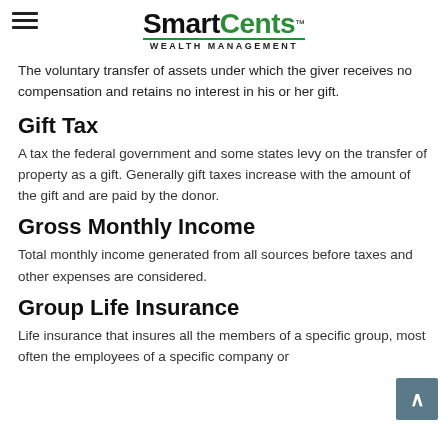SmartCents™ WEALTH MANAGEMENT
The voluntary transfer of assets under which the giver receives no compensation and retains no interest in his or her gift.
Gift Tax
A tax the federal government and some states levy on the transfer of property as a gift. Generally gift taxes increase with the amount of the gift and are paid by the donor.
Gross Monthly Income
Total monthly income generated from all sources before taxes and other expenses are considered.
Group Life Insurance
Life insurance that insures all the members of a specific group, most often the employees of a specific company or